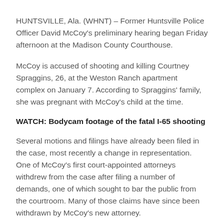HUNTSVILLE, Ala. (WHNT) – Former Huntsville Police Officer David McCoy's preliminary hearing began Friday afternoon at the Madison County Courthouse.
McCoy is accused of shooting and killing Courtney Spraggins, 26, at the Weston Ranch apartment complex on January 7. According to Spraggins' family, she was pregnant with McCoy's child at the time.
WATCH: Bodycam footage of the fatal I-65 shooting
Several motions and filings have already been filed in the case, most recently a change in representation. One of McCoy's first court-appointed attorneys withdrew from the case after filing a number of demands, one of which sought to bar the public from the courtroom. Many of those claims have since been withdrawn by McCoy's new attorney.